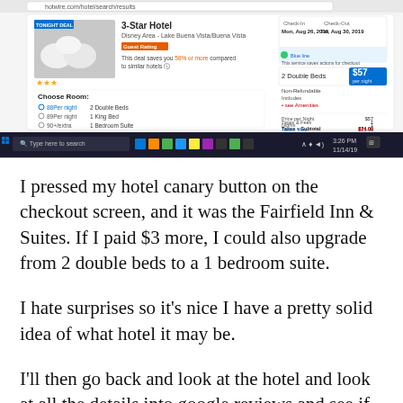[Figure (screenshot): Screenshot of a hotel booking website showing a 3-Star Hotel listing with check-in Mon, Aug 26, 2019 and check-out Fri, Aug 31, 2019. Shows room options including 2 Double Beds at $57, with pricing breakdown showing taxes and a total around $74.00. Windows 10 taskbar visible at bottom.]
I pressed my hotel canary button on the checkout screen, and it was the Fairfield Inn & Suites. If I paid $3 more, I could also upgrade from 2 double beds to a 1 bedroom suite.
I hate surprises so it’s nice I have a pretty solid idea of what hotel it may be.
I’ll then go back and look at the hotel and look at all the details into google reviews and see if t...